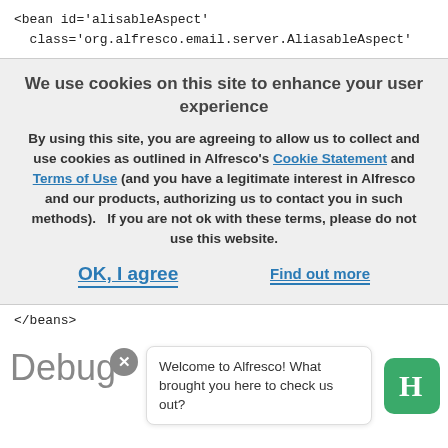<bean id='alisableAspect'
  class='org.alfresco.email.server.AliasableAspect'
We use cookies on this site to enhance your user experience
By using this site, you are agreeing to allow us to collect and use cookies as outlined in Alfresco's Cookie Statement and Terms of Use (and you have a legitimate interest in Alfresco and our products, authorizing us to contact you in such methods).   If you are not ok with these terms, please do not use this website.
OK, I agree
Find out more
</beans>
Debug
Welcome to Alfresco! What brought you here to check us out?